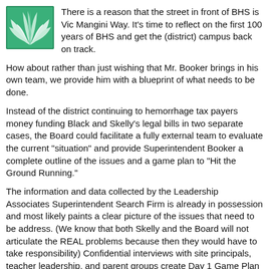[Figure (logo): Green and white logo with leaf/plant design inside a square border]
There is a reason that the street in front of BHS is Vic Mangini Way. It's time to reflect on the first 100 years of BHS and get the (district) campus back on track.
How about rather than just wishing that Mr. Booker brings in his own team, we provide him with a blueprint of what needs to be done.
Instead of the district continuing to hemorrhage tax payers money funding Black and Skelly's legal bills in two separate cases, the Board could facilitate a fully external team to evaluate the current "situation" and provide Superintendent Booker a complete outline of the issues and a game plan to "Hit the Ground Running."
The information and data collected by the Leadership Associates Superintendent Search Firm is already in possession and most likely paints a clear picture of the issues that need to be address. (We know that both Skelly and the Board will not articulate the REAL problems because then they would have to take responsibility) Confidential interviews with site principals, teacher leadership, and parent groups create Day 1 Game Plan for Superintendent Booker. Any board of directors for a publicly held corporation would approve such an action and purpose because of the time